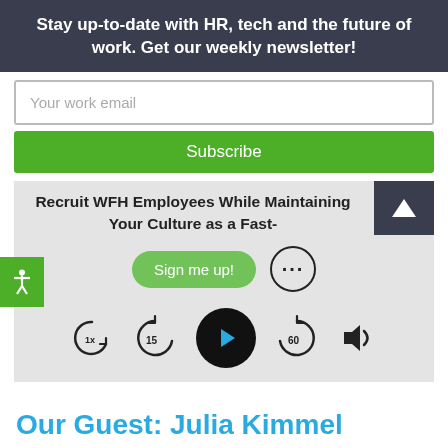Stay up-to-date with HR, tech and the future of work. Get our weekly newsletter!
Your work email
Subscribe
[Figure (screenshot): Podcast player widget showing title 'Recruit WFH Employees While Maintaining Your Culture as a Fast-', a 'Sign me up!' button, dots menu button, playback controls including 1x speed, rewind 15s, play button, forward 60s, and volume icon. An accessibility icon is on the left.]
Our Guest: Julia Kimmel
On this latest episode of #WorkTrends, I spoke with Julia Kimmel from RocketReach. For her entire career,